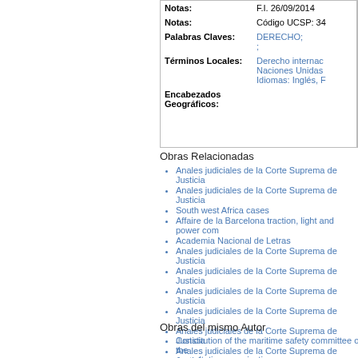| Campo | Valor |
| --- | --- |
| Notas: | F.I. 26/09/2014 |
| Notas: | Código UCSP: 34 |
| Palabras Claves: | DERECHO; ; |
| Términos Locales: | Derecho internac Naciones Unidas Idiomas: Inglés, F |
| Encabezados Geográficos: |  |
Obras Relacionadas
Anales judiciales de la Corte Suprema de Justicia
Anales judiciales de la Corte Suprema de Justicia
South west Africa cases
Affaire de la Barcelona traction, light and power com
Academia Nacional de Letras
Anales judiciales de la Corte Suprema de Justicia
Anales judiciales de la Corte Suprema de Justicia
Anales judiciales de la Corte Suprema de Justicia
Anales judiciales de la Corte Suprema de Justicia
Anales judiciales de la Corte Suprema de Justicia
Anales judiciales de la Corte Suprema de Justicia
Anales judiciales de la Corte Suprema de Justicia
Anales judiciales de la Corte Suprema de Justicia
Anales judiciales de la Corte Suprema de Justicia
Anales judiciales de la Corte Suprema de Justicia
Obras del mismo Autor
Constitution of the maritime safety committee of the consultative organization